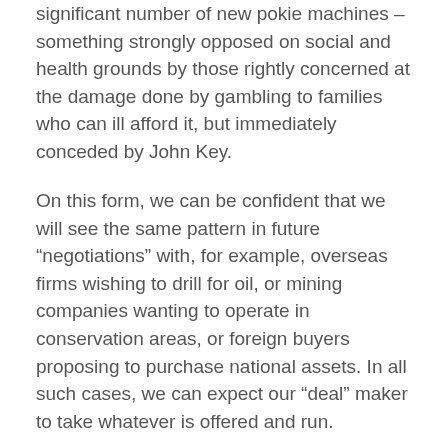significant number of new pokie machines – something strongly opposed on social and health grounds by those rightly concerned at the damage done by gambling to families who can ill afford it, but immediately conceded by John Key.
On this form, we can be confident that we will see the same pattern in future “negotiations” with, for example, overseas firms wishing to drill for oil, or mining companies wanting to operate in conservation areas, or foreign buyers proposing to purchase national assets. In all such cases, we can expect our “deal” maker to take whatever is offered and run.
“Show me the money” was John Key’s election campaign challenge to Phil Goff; in his mind, it seems, “showing the money” is the essential and only condition needed to settle any deal on offer.
Peter Dunne’s blog last week, in which he warned that there